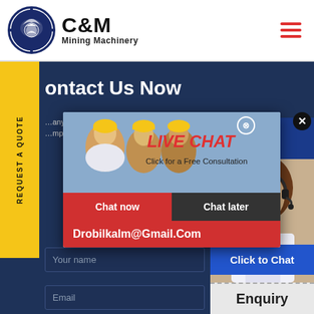[Figure (logo): C&M Mining Machinery logo with eagle/gear emblem in navy blue circle, text 'C&M' in large bold black font and 'Mining Machinery' below]
[Figure (screenshot): Website screenshot showing Contact Us Now page for C&M Mining Machinery with live chat popup overlay showing workers image, LIVE CHAT label, chat now/later buttons, email Drobilkalm@Gmail.Com, and a form with Your name and Email fields]
Contact Us Now
LIVE CHAT
Click for a Free Consultation
Chat now
Chat later
Drobilkalm@Gmail.Com
Hours
online
Your name
Email
Click to Chat
Enquiry
REQUEST A QUOTE